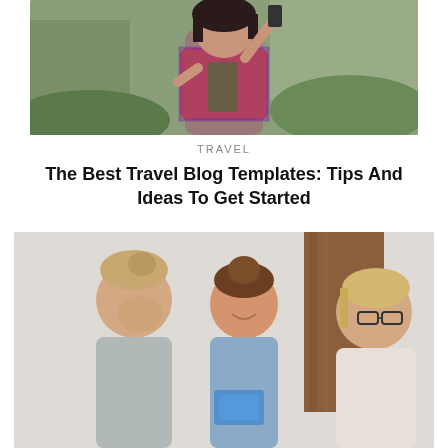[Figure (photo): Young woman with dark hair taking a selfie outdoors, standing in front of rocky hills and green vegetation, wearing a plaid shirt]
TRAVEL
The Best Travel Blog Templates: Tips And Ideas To Get Started
[Figure (photo): Three young people sitting together at a table — a man with hair in a bun looking down, a woman in a denim jacket smiling, and an Asian woman with glasses laughing]
Back to top